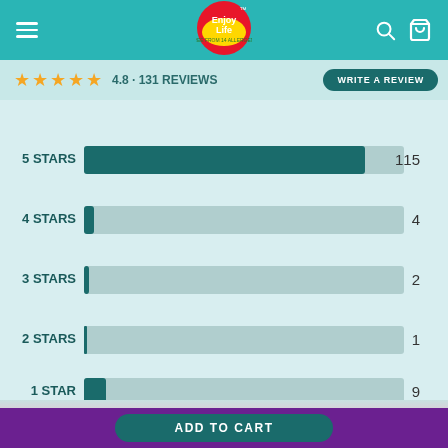Enjoy Life — navigation bar with hamburger menu, logo, search and cart icons
★★★★★ 4.8 · 131 reviews
WRITE A REVIEW
[Figure (bar-chart): Star rating distribution]
Most Liked Positive Reviews
ADD TO CART